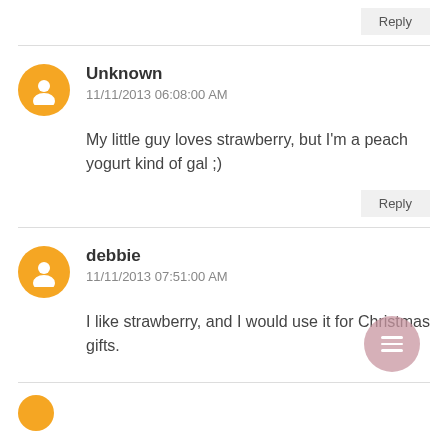Reply
Unknown
11/11/2013 06:08:00 AM
My little guy loves strawberry, but I'm a peach yogurt kind of gal ;)
Reply
debbie
11/11/2013 07:51:00 AM
I like strawberry, and I would use it for Christmas gifts.